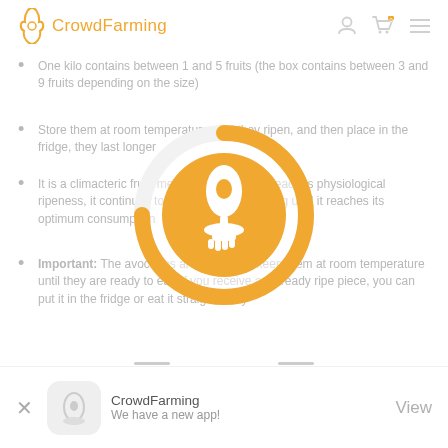CrowdFarming
One kilo contains between 1 and 5 fruits (the box contains between 3 and 9 fruits depending on the size)
Store them at room temperature until they ripen, and then place in the fridge, they last longer
It is a climacteric fruit, meaning that when it reaches physiological ripeness, it continues to evolve after harvesting until it reaches its optimum consumption
Important: The avocados are very hard, keep them at room temperature until they are ready to eat. If you receive already ripe piece, you can put it in the fridge or eat it straight away
[Figure (illustration): Circular orange progress ring with a white avocado tree/fruit icon in the center on an orange circular background]
CrowdFarming
We have a new app!
View